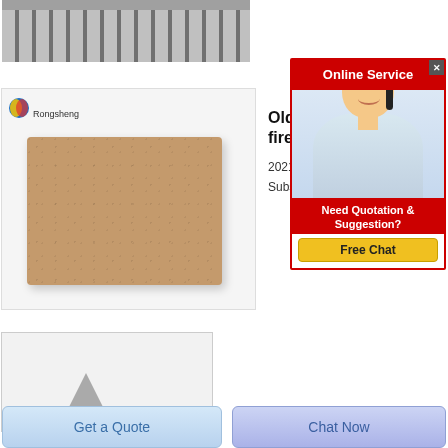[Figure (photo): Conveyor belt with parallel metal slats viewed from above]
[Figure (photo): Rongsheng branded firebrick product photo on white background]
[Figure (photo): Partial view of a gray cone-shaped object on white background]
Old firel
2021
Subs
[Figure (screenshot): Online Service widget with red header, female agent with headset, Need Quotation & Suggestion, Free Chat button]
Get a Quote
Chat Now